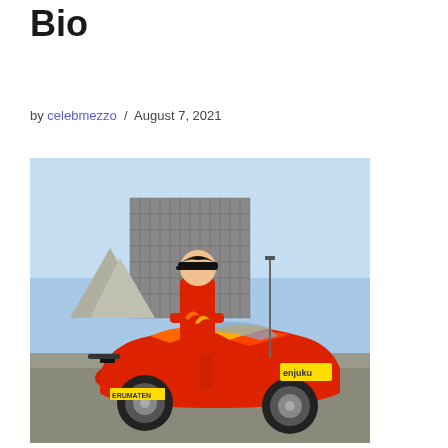Bio
by celebmezzo / August 7, 2021
[Figure (photo): A racing driver in a red flame-patterned racing suit leaning against a colorful drift car with sponsor decals including 'enjuku', photographed at a racetrack with a large building in the background.]